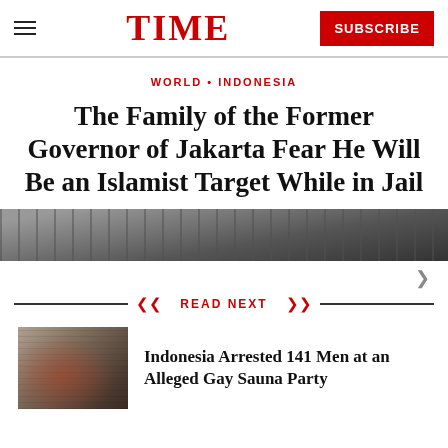TIME
WORLD • INDONESIA
The Family of the Former Governor of Jakarta Fear He Will Be an Islamist Target While in Jail
[Figure (photo): Photo strip showing crowd/scene related to Jakarta story]
READ NEXT
[Figure (photo): Thumbnail photo of men being arrested at alleged gay sauna party in Indonesia]
Indonesia Arrested 141 Men at an Alleged Gay Sauna Party